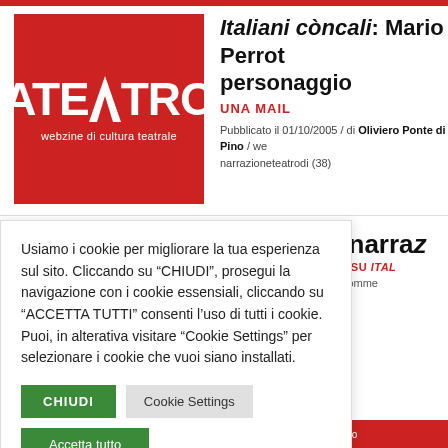[Figure (logo): Ateatro logo — red square background with white stylized text ATEATRO and subtitle 'webzine di cultura teatrale']
Italiani còncali: Mario Perrotta e il personaggio
UNA MAIL
Pubblicato il 01/10/2005 / di Oliviero Ponte di Pino / we... narrazioneteatrodi (38)
Usiamo i cookie per migliorare la tua esperienza sul sito. Cliccando su "CHIUDI", prosegui la navigazione con i cookie essensiali, cliccando su "ACCETTA TUTTI" consenti l'uso di tutti i cookie. Puoi, in alterativa visitare "Cookie Settings" per selezionare i cookie che vuoi siano installati.
cita dalla narraz... ERO PONTE DI PINO SU ITALA... errotta / webzine 089 / comme...
cultura teatrale - Proprietà letto...